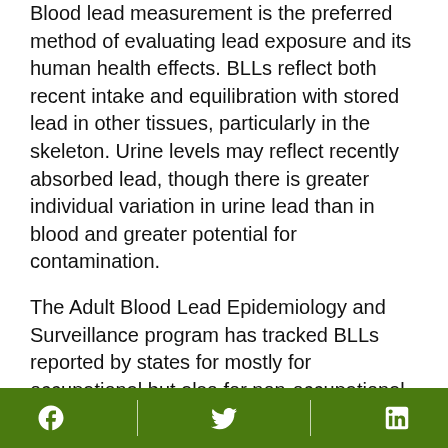Blood lead measurement is the preferred method of evaluating lead exposure and its human health effects. BLLs reflect both recent intake and equilibration with stored lead in other tissues, particularly in the skeleton. Urine levels may reflect recently absorbed lead, though there is greater individual variation in urine lead than in blood and greater potential for contamination.
The Adult Blood Lead Epidemiology and Surveillance program has tracked BLLs reported by states for mostly for occupational but also for non-occupational exposure in U.S. adult residents. Overall, the national prevalence rate for adults with BLLs 25 µg/dL or higher was 7.5 per 100,000 adults; the prevalence rate has declined annually since 1994 (CDC, 2006). A decrease in BLLs is evident also in adult NHANES
[Facebook] [Twitter] [LinkedIn]